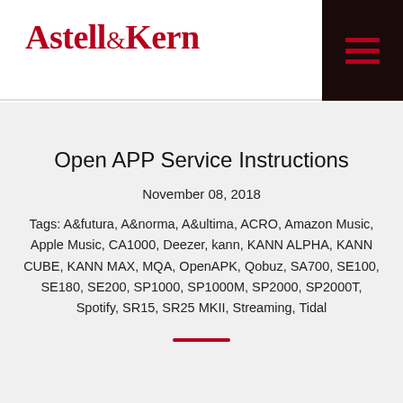Astell&Kern
Open APP Service Instructions
November 08, 2018
Tags: A&futura, A&norma, A&ultima, ACRO, Amazon Music, Apple Music, CA1000, Deezer, kann, KANN ALPHA, KANN CUBE, KANN MAX, MQA, OpenAPK, Qobuz, SA700, SE100, SE180, SE200, SP1000, SP1000M, SP2000, SP2000T, Spotify, SR15, SR25 MKII, Streaming, Tidal